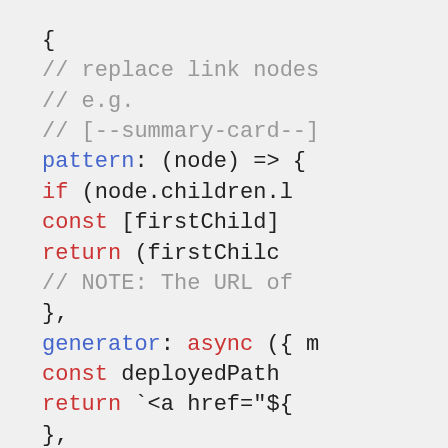[Figure (screenshot): Code snippet showing JavaScript with syntax highlighting. Lines include comments about replacing link nodes, a pattern arrow function with if/const/return statements, a generator async function with const deployedPath and return template literal, closing braces, and a rules array with require call. Colors: blue for property names, red for keywords like if/const/return, gray for comments.]